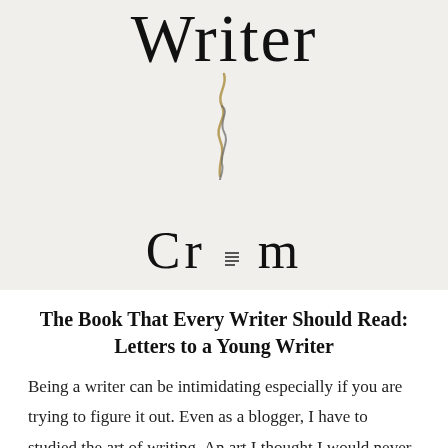[Figure (illustration): Book cover showing the word 'Writer' in large serif font, a decorative wispy squiggle line beneath it, and the partial author name 'Cr_um' at the bottom, on a textured off-white background.]
The Book That Every Writer Should Read: Letters to a Young Writer
Being a writer can be intimidating especially if you are trying to figure it out. Even as a blogger, I have to studied the art of writing. An art I thought I would never have to study. I have read several guides to writing and each write about the do's